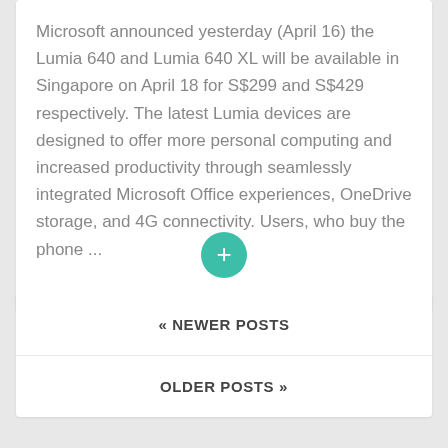Microsoft announced yesterday (April 16) the Lumia 640 and Lumia 640 XL will be available in Singapore on April 18 for S$299 and S$429 respectively. The latest Lumia devices are designed to offer more personal computing and increased productivity through seamlessly integrated Microsoft Office experiences, OneDrive storage, and 4G connectivity. Users, who buy the phone ...
[Figure (other): Green circular button with a white plus sign]
« NEWER POSTS
OLDER POSTS »